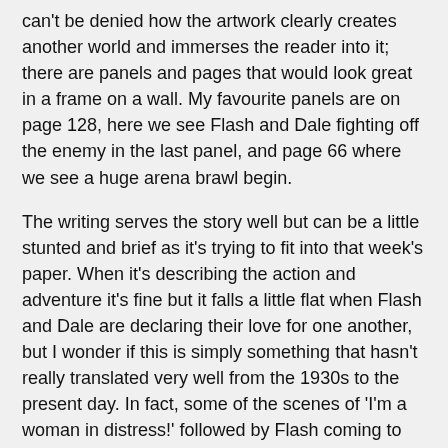can't be denied how the artwork clearly creates another world and immerses the reader into it; there are panels and pages that would look great in a frame on a wall. My favourite panels are on page 128, here we see Flash and Dale fighting off the enemy in the last panel, and page 66 where we see a huge arena brawl begin.
The writing serves the story well but can be a little stunted and brief as it's trying to fit into that week's paper. When it's describing the action and adventure it's fine but it falls a little flat when Flash and Dale are declaring their love for one another, but I wonder if this is simply something that hasn't really translated very well from the 1930s to the present day. In fact, some of the scenes of 'I'm a woman in distress!' followed by Flash coming to the rescue can be a little grating but these are interspersed with other moments that make you wonder what Dale was worried about, as she can obviously take care of herself (which is why I love the image on page 128 so much). Again, the attitude is of its time and some of that might not sit well with a modern audience.
This first volume of the Flash Gordon collection is excellent –